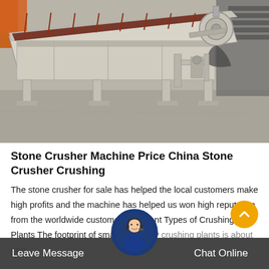[Figure (photo): Industrial stone crusher machine / vibrating screen equipment photographed outdoors on a concrete surface. The machine is a large belt-driven industrial separator/crusher with a metal frame, shown in a yard setting.]
Stone Crusher Machine Price China Stone Crusher Crushing
The stone crusher for sale has helped the local customers make high profits and the machine has helped us won high reputation from the worldwide customers Different Types of Crushing Plants The footprint of small stationary crushing plants is about one…
Leave Message   Chat Online